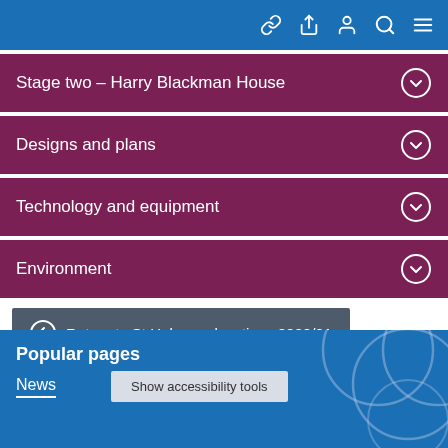Navigation bar with icons
Stage two – Harry Blackman House
Designs and plans
Technology and equipment
Environment
Return to St Helens relocations 2020/21
Popular pages
News
Show accessibility tools